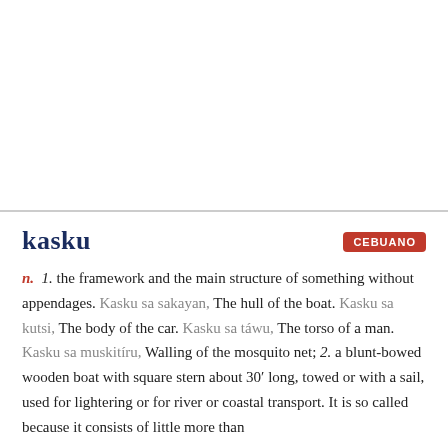kasku
n. 1. the framework and the main structure of something without appendages. Kasku sa sakayan, The hull of the boat. Kasku sa kutsi, The body of the car. Kasku sa táwu, The torso of a man. Kasku sa muskitíru, Walling of the mosquito net; 2. a blunt-bowed wooden boat with square stern about 30' long, towed or with a sail, used for lightering or for river or coastal transport. It is so called because it consists of little more than